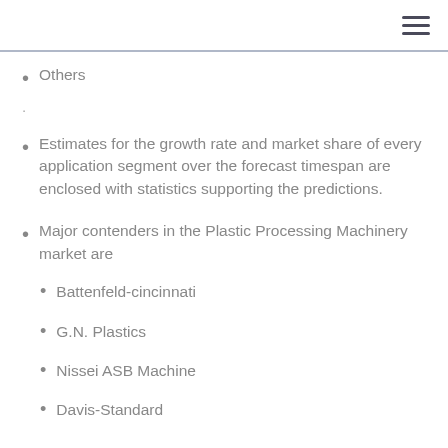Others
.
Estimates for the growth rate and market share of every application segment over the forecast timespan are enclosed with statistics supporting the predictions.
Major contenders in the Plastic Processing Machinery market are
Battenfeld-cincinnati
G.N. Plastics
Nissei ASB Machine
Davis-Standard